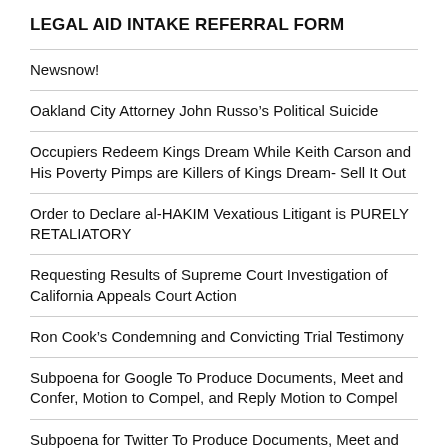LEGAL AID INTAKE REFERRAL FORM
Newsnow!
Oakland City Attorney John Russo’s Political Suicide
Occupiers Redeem Kings Dream While Keith Carson and His Poverty Pimps are Killers of Kings Dream- Sell It Out
Order to Declare al-HAKIM Vexatious Litigant is PURELY RETALIATORY
Requesting Results of Supreme Court Investigation of California Appeals Court Action
Ron Cook’s Condemning and Convicting Trial Testimony
Subpoena for Google To Produce Documents, Meet and Confer, Motion to Compel, and Reply Motion to Compel
Subpoena for Twitter To Produce Documents, Meet and